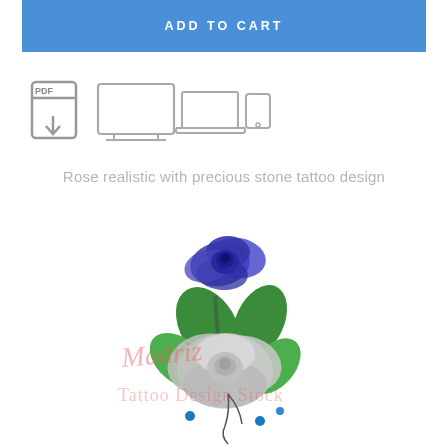ADD TO CART
[Figure (illustration): PDF download icon and multi-device icons (laptop, monitor, tablet, phone) in gray outline style]
Rose realistic with precious stone tattoo design
[Figure (illustration): Tattoo design illustration showing a blue rose on top and a silver/grey rose below with green leaves and jewel/gem decorations, with watermark text 'Madriz Tattoo Design Stock']